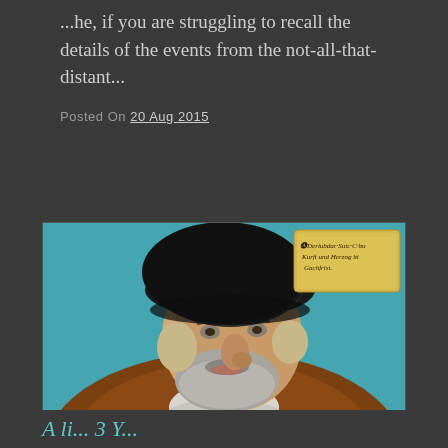...he, if you are struggling to recall the details of the events from the not-all-that-distant...
Posted On 20 Aug 2015
[Figure (photo): Renaissance-style portrait painting of a bearded nobleman wearing a large black beret hat, with a teal/blue background. In the upper right corner there is a yellow cartouche with Gothic script text in German.]
A li... 3 Y...